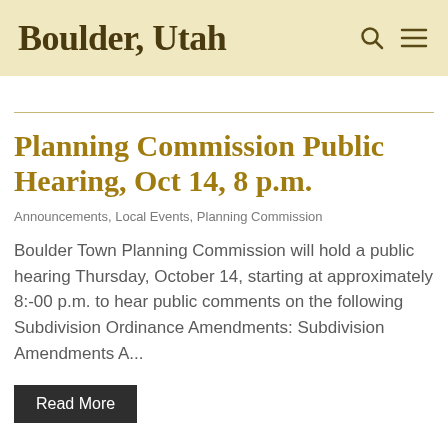Boulder, Utah
Planning Commission Public Hearing, Oct 14, 8 p.m.
Announcements, Local Events, Planning Commission
Boulder Town Planning Commission will hold a public hearing Thursday, October 14, starting at approximately 8:-00 p.m. to hear public comments on the following Subdivision Ordinance Amendments: Subdivision Amendments A...
Read More